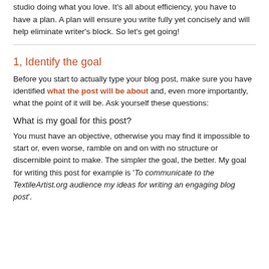studio doing what you love. It's all about efficiency, you have to have a plan. A plan will ensure you write fully yet concisely and will help eliminate writer's block. So let's get going!
1, Identify the goal
Before you start to actually type your blog post, make sure you have identified what the post will be about and, even more importantly, what the point of it will be. Ask yourself these questions:
What is my goal for this post?
You must have an objective, otherwise you may find it impossible to start or, even worse, ramble on and on with no structure or discernible point to make. The simpler the goal, the better. My goal for writing this post for example is 'To communicate to the TextileArtist.org audience my ideas for writing an engaging blog post'.